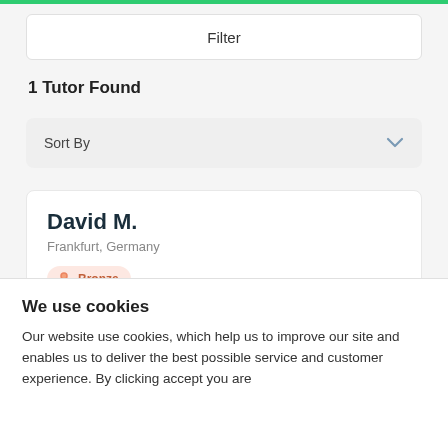Filter
1 Tutor Found
Sort By
David M.
Frankfurt, Germany
Bronze
€20/hr
We use cookies
Our website use cookies, which help us to improve our site and enables us to deliver the best possible service and customer experience. By clicking accept you are